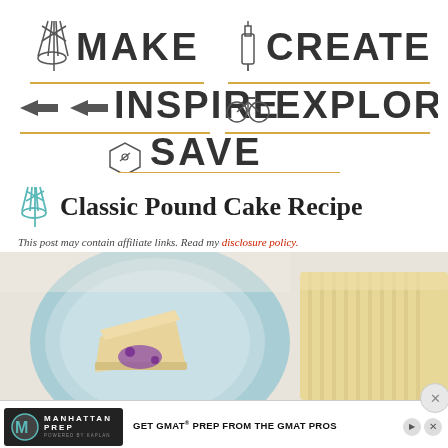[Figure (infographic): Navigation header with five category labels: MAKE (whisk icon), CREATE (bottle icon), INSPIRE (arrows icon), EXPLORE (bicycle icon), SAVE (price tag icon), each with a golden underline]
Classic Pound Cake Recipe
This post may contain affiliate links. Read my disclosure policy.
[Figure (photo): Overhead photo of slices of pound cake on a light blue plate with berry sauce, and a loaf of pound cake on a white surface]
[Figure (infographic): Manhattan Prep advertisement banner: GET GMAT PREP FROM THE GMAT PROS, powered by Kaplan]